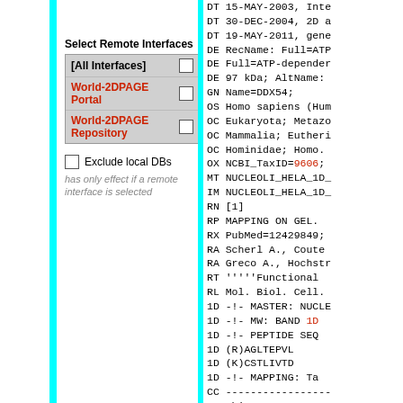Select Remote Interfaces
[All Interfaces] (checkbox)
World-2DPAGE Portal (checkbox)
World-2DPAGE Repository (checkbox)
Exclude local DBs
has only effect if a remote interface is selected
DT   15-MAY-2003, Inte
DT   30-DEC-2004, 2D a
DT   19-MAY-2011, gene
DE   RecName: Full=ATP
DE   Full=ATP-depender
DE   97 kDa; AltName:
GN   Name=DDX54;
OS   Homo sapiens (Hum
OC   Eukaryota; Metazo
OC   Mammalia; Eutheri
OC   Hominidae; Homo.
OX   NCBI_TaxID=9606;
MT   NUCLEOLI_HELA_1D_
IM   NUCLEOLI_HELA_1D_
RN   [1]
RP   MAPPING ON GEL.
RX   PubMed=12429849;
RA   Scherl A., Coute
RA   Greco A., Hochstr
RT   '''''Functional
RL   Mol. Biol. Cell.
1D   -!- MASTER: NUCLE
1D   -!-    MW: BAND 1D
1D   -!-    PEPTIDE SEQ
1D          (R)AGLTEPVL
1D          (K)CSTLIVTD
1D   -!-    MAPPING: Ta
CC   ----------------
CC   This SWISS-2DPAGE
CC   There are no rest